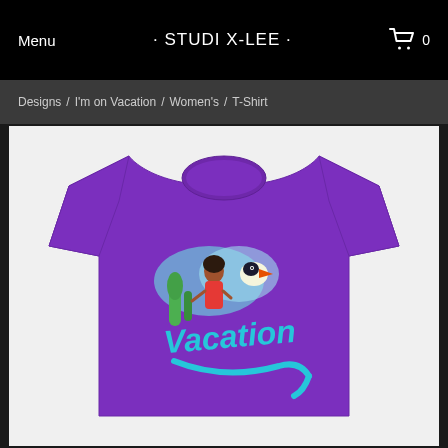Menu · STUDI X-LEE · 0
Designs / I'm on Vacation / Women's / T-Shirt
[Figure (photo): Purple women's t-shirt with a vacation-themed graphic design showing the word 'Vacation' in teal cursive text, with illustrated tropical figures including a woman, animals, and plants on a white background product image.]